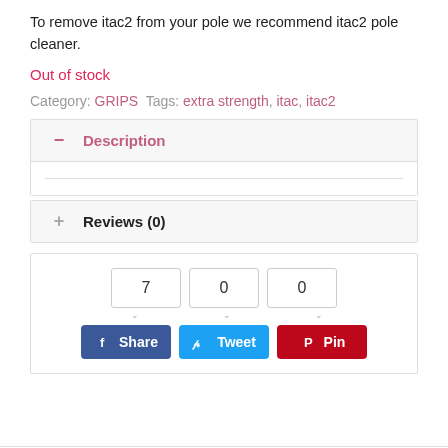To remove itac2 from your pole we recommend itac2 pole cleaner.
Out of stock
Category: GRIPS Tags: extra strength, itac, itac2
Description
Reviews (0)
[Figure (other): Social sharing widget with share counts (7, 0, 0) and buttons for Facebook Share, Twitter Tweet, Pinterest Pin]